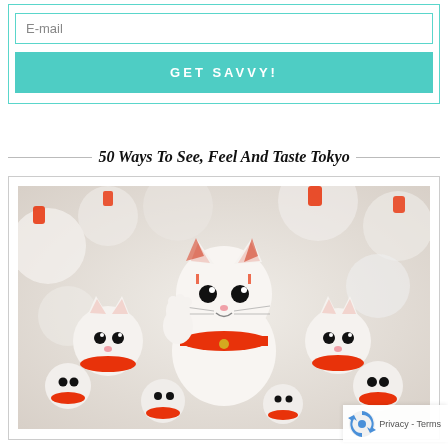E-mail
GET SAVVY!
50 Ways To See, Feel And Taste Tokyo
[Figure (photo): Many white ceramic maneki-neko (lucky cat) figurines with red scarves and accents, photographed close-up with shallow depth of field. The cats face the viewer and are densely packed together.]
Privacy - Terms